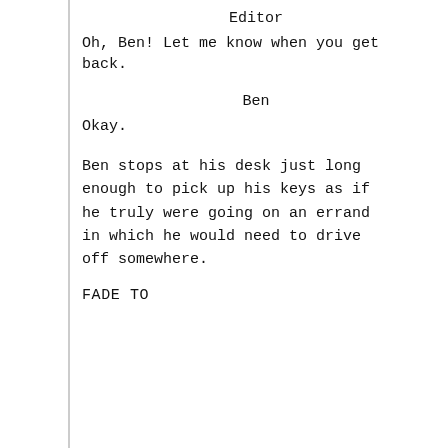Editor
Oh, Ben! Let me know when you get back.
Ben
Okay.
Ben stops at his desk just long enough to pick up his keys as if he truly were going on an errand in which he would need to drive off somewhere.
FADE TO